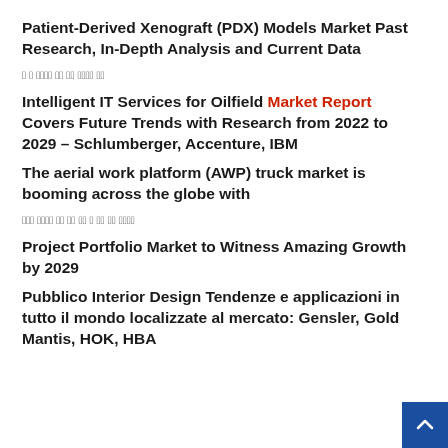Patient-Derived Xenograft (PDX) Models Market Past Research, In-Depth Analysis and Current Data
[Korean/unrecognized characters]
Intelligent IT Services for Oilfield Market Report Covers Future Trends with Research from 2022 to 2029 – Schlumberger, Accenture, IBM
The aerial work platform (AWP) truck market is booming across the globe with
[Korean/unrecognized characters]
Project Portfolio Market to Witness Amazing Growth by 2029
Pubblico Interior Design Tendenze e applicazioni in tutto il mondo localizzate al mercato: Gensler, Gold Mantis, HOK, HBA